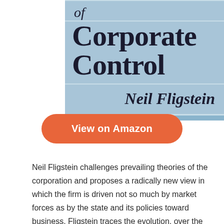[Figure (illustration): Book cover for 'The Transformation of Corporate Control' by Neil Fligstein. The cover has a blue-grey background. Text shows 'of / Corporate Control' in large serif font, and 'Neil Fligstein' in large italic bold font below.]
View on Amazon
Neil Fligstein challenges prevailing theories of the corporation and proposes a radically new view in which the firm is driven not so much by market forces as by the state and its policies toward business. Fligstein traces the evolution, over the past century, of corporate strategy from an initial emphasis on direct control to one of